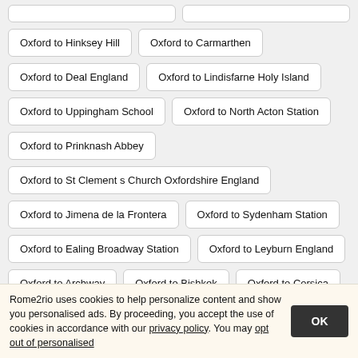Oxford to Hinksey Hill
Oxford to Carmarthen
Oxford to Deal England
Oxford to Lindisfarne Holy Island
Oxford to Uppingham School
Oxford to North Acton Station
Oxford to Prinknash Abbey
Oxford to St Clement s Church Oxfordshire England
Oxford to Jimena de la Frontera
Oxford to Sydenham Station
Oxford to Ealing Broadway Station
Oxford to Leyburn England
Oxford to Archway
Oxford to Bishkek
Oxford to Corsica
Oxford to Bournes Green Roundabout
Rome2rio uses cookies to help personalize content and show you personalised ads. By proceeding, you accept the use of cookies in accordance with our privacy policy. You may opt out of personalised